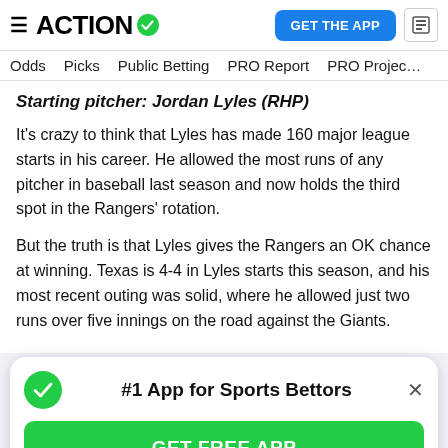ACTION [logo with checkmark] | GET THE APP
Odds | Picks | Public Betting | PRO Report | PRO Projec...
Starting pitcher: Jordan Lyles (RHP)
It's crazy to think that Lyles has made 160 major league starts in his career. He allowed the most runs of any pitcher in baseball last season and now holds the third spot in the Rangers' rotation.
But the truth is that Lyles gives the Rangers an OK chance at winning. Texas is 4-4 in Lyles starts this season, and his most recent outing was solid, where he allowed just two runs over five innings on the road against the Giants.
[Figure (infographic): Popup banner: #1 App for Sports Bettors with green checkmark icon, close X button, and GET FREE APP green button]
1.61 WHIP this season, and the advanced analytics are